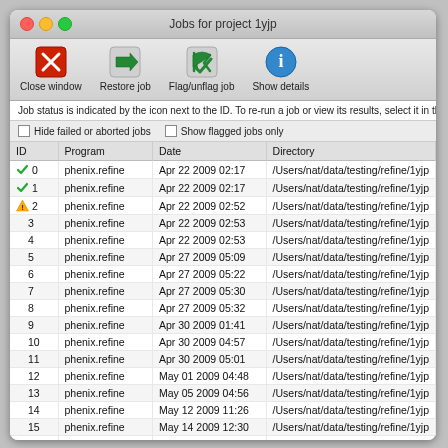[Figure (screenshot): macOS application window titled 'Jobs for project 1yjp' showing a job management interface with toolbar buttons (Close window, Restore job, Flag/unflag job, Show details) and a table listing jobs 0-22 with columns ID, Program, Date, Directory. Jobs 0 and 1 have green checkmarks, job 2 has a yellow warning triangle. All jobs run phenix.refine.]
| ID | Program | Date | Directory |
| --- | --- | --- | --- |
| 0 | phenix.refine | Apr 22 2009 02:17 | /Users/nat/data/testing/refine/1yjp |
| 1 | phenix.refine | Apr 22 2009 02:17 | /Users/nat/data/testing/refine/1yjp |
| 2 | phenix.refine | Apr 22 2009 02:52 | /Users/nat/data/testing/refine/1yjp |
| 3 | phenix.refine | Apr 22 2009 02:53 | /Users/nat/data/testing/refine/1yjp |
| 4 | phenix.refine | Apr 22 2009 02:53 | /Users/nat/data/testing/refine/1yjp |
| 5 | phenix.refine | Apr 27 2009 05:09 | /Users/nat/data/testing/refine/1yjp |
| 6 | phenix.refine | Apr 27 2009 05:22 | /Users/nat/data/testing/refine/1yjp |
| 7 | phenix.refine | Apr 27 2009 05:30 | /Users/nat/data/testing/refine/1yjp |
| 8 | phenix.refine | Apr 27 2009 05:32 | /Users/nat/data/testing/refine/1yjp |
| 9 | phenix.refine | Apr 30 2009 01:41 | /Users/nat/data/testing/refine/1yjp |
| 10 | phenix.refine | Apr 30 2009 04:57 | /Users/nat/data/testing/refine/1yjp |
| 11 | phenix.refine | Apr 30 2009 05:01 | /Users/nat/data/testing/refine/1yjp |
| 12 | phenix.refine | May 01 2009 04:48 | /Users/nat/data/testing/refine/1yjp |
| 13 | phenix.refine | May 05 2009 04:56 | /Users/nat/data/testing/refine/1yjp |
| 14 | phenix.refine | May 12 2009 11:26 | /Users/nat/data/testing/refine/1yjp |
| 15 | phenix.refine | May 14 2009 12:30 | /Users/nat/data/testing/refine/1yjp |
| 16 | phenix.refine | May 15 2009 04:13 | /Users/nat/data/testing/refine/1yjp |
| 17 | phenix.refine | May 15 2009 04:15 | /Users/nat/data/testing/refine/1yjp |
| 18 | phenix.refine | May 19 2009 12:38 | /Users/nat/data/testing/refine/1yjp |
| 19 | phenix.refine | May 19 2009 12:42 | /Users/nat/data/testing/refine/1yjp |
| 20 | phenix.refine | May 19 2009 01:34 | /Users/nat/data/testing/refine/1yjp |
| 21 | phenix.refine | May 19 2009 01:36 | /Users/nat/data/testing/refine/1yjp |
| 22 | phenix.refine | May 19 2009 01:38 | /Users/nat/data/testing/refine/1yjp |